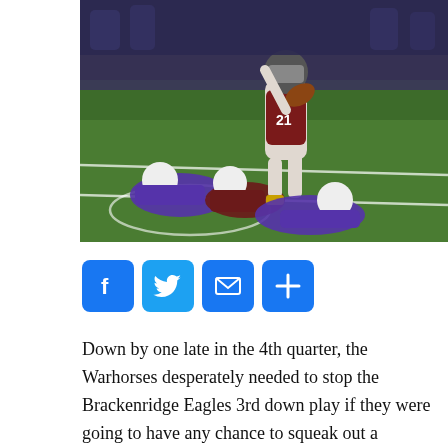[Figure (photo): Football game action photo: a player in maroon/white uniform carrying the ball and hurdling over a defender in purple uniform on a green field at night]
[Figure (infographic): Social media share buttons: Facebook (blue F), Twitter (blue bird), Email (blue envelope), Share (blue plus)]
Down by one late in the 4th quarter, the Warhorses desperately needed to stop the Brackenridge Eagles 3rd down play if they were going to have any chance to squeak out a